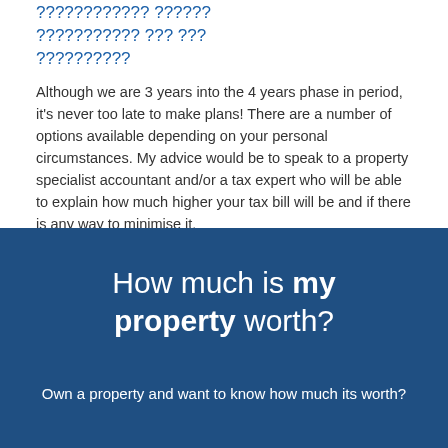???????????? ?????? ??????????? ??? ??? ??????????
Although we are 3 years into the 4 years phase in period, it's never too late to make plans! There are a number of options available depending on your personal circumstances. My advice would be to speak to a property specialist accountant and/or a tax expert who will be able to explain how much higher your tax bill will be and if there is any way to minimise it.
[Figure (other): Twitter Tweet button]
[Figure (infographic): Blue banner with text: How much is my property worth? Own a property and want to know how much its worth?]